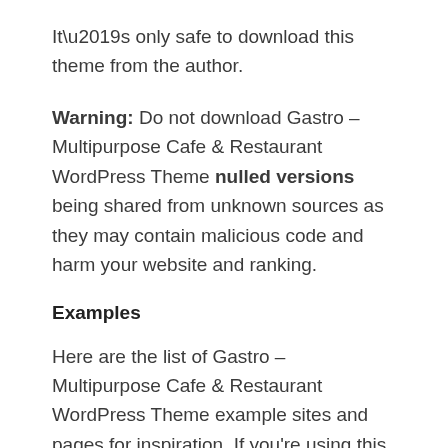It’s only safe to download this theme from the author.
Warning: Do not download Gastro – Multipurpose Cafe & Restaurant WordPress Theme nulled versions being shared from unknown sources as they may contain malicious code and harm your website and ranking.
Examples
Here are the list of Gastro – Multipurpose Cafe & Restaurant WordPress Theme example sites and pages for inspiration. If you’re using this theme and would like to add it to this list, please comment below.